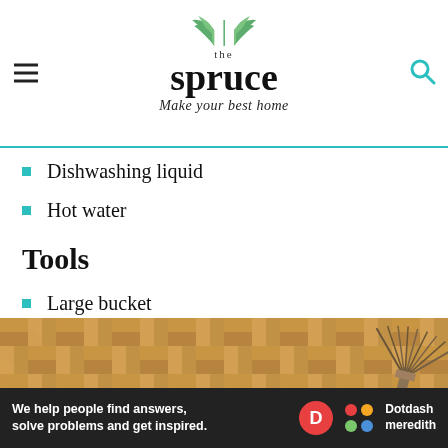the spruce — Make your best home
Dishwashing liquid
Hot water
Tools
Large bucket
[Figure (photo): Overhead view of wooden herringbone parquet floor with a large straw fan brush and a small glass bowl filled with pink liquid cleaning solution]
We help people find answers, solve problems and get inspired. — Dotdash meredith